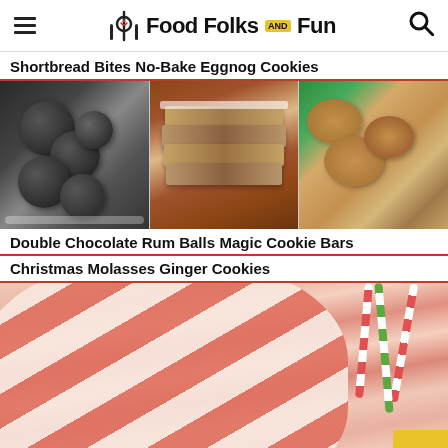Food Folks and Fun
Shortbread Bites No-Bake Eggnog Cookies
[Figure (photo): Three food photos side by side: chocolate rum balls dusted with powdered sugar on a white plate (left), stacked no-bake eggnog cookies with coconut topping (center), Christmas molasses ginger cookies on a surface (right).]
Double Chocolate Rum Balls Magic Cookie Bars
Christmas Molasses Ginger Cookies
[Figure (photo): Close-up photo of a pink and white striped sugar cookie with candy cane sticks and a yellow element in the background.]